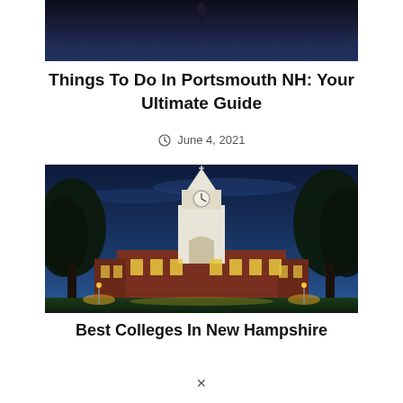[Figure (photo): Partial top portion of a scenic photo, appears to show a night sky or dusk scene]
Things To Do In Portsmouth NH: Your Ultimate Guide
June 4, 2021
[Figure (photo): Photo of a classic brick college building with a white clock tower steeple, surrounded by large trees, photographed at dusk/night with blue sky and warm lights illuminating the facade]
Best Colleges In New Hampshire